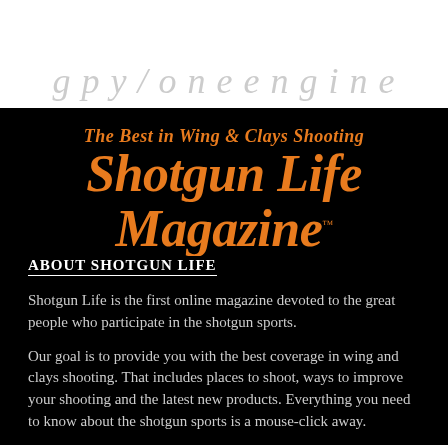[Figure (logo): Partially visible italic serif text at top of page, faded gray, appears to be continuation of a heading from previous page]
[Figure (logo): Shotgun Life Magazine logo on black background. Tagline: 'The Best in Wing & Clays Shooting' in orange italic bold. Main title: 'Shotgun Life Magazine' in large orange italic bold with orange underline and TM mark.]
ABOUT SHOTGUN LIFE
Shotgun Life is the first online magazine devoted to the great people who participate in the shotgun sports.
Our goal is to provide you with the best coverage in wing and clays shooting. That includes places to shoot, ways to improve your shooting and the latest new products. Everything you need to know about the shotgun sports is a mouse-click away.